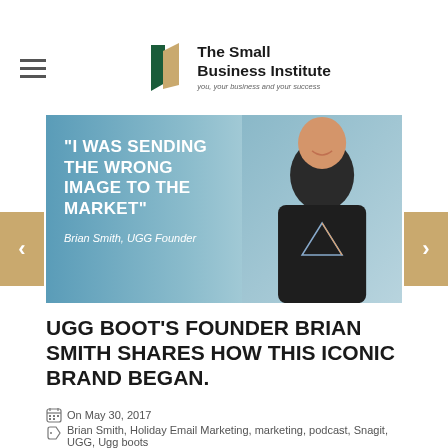[Figure (logo): The Small Business Institute logo with tagline 'you, your business and your success']
[Figure (photo): Banner image with quote 'I WAS SENDING THE WRONG IMAGE TO THE MARKET' attributed to Brian Smith, UGG Founder, with photo of smiling older man in Pink Floyd t-shirt]
UGG BOOT'S FOUNDER BRIAN SMITH SHARES HOW THIS ICONIC BRAND BEGAN.
On May 30, 2017
Brian Smith, Holiday Email Marketing, marketing, podcast, Snagit, UGG, Ugg boots